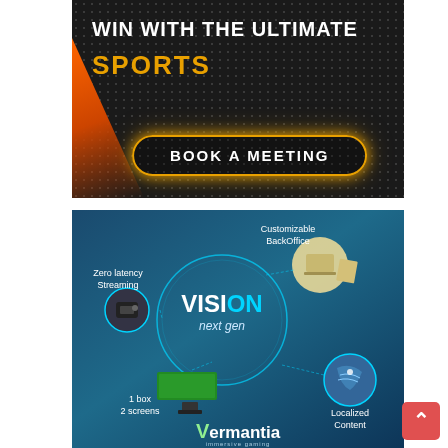[Figure (infographic): Dark themed advertisement banner with dot pattern background. Orange diagonal stripe on bottom-left. White bold text 'WIN WITH THE ULTIMATE', gold text 'SPORTS'. Gold-bordered button with glowing effect reading 'BOOK A MEETING'.]
[Figure (infographic): Blue gradient infographic for Vermantia's VisiON next gen product. Central circle with 'VisiON next gen' label surrounded by four features: Customizable BackOffice (top-right with laptop icon), Zero latency Streaming (left with streaming box icon), 1 box 2 screens (bottom-left), Localized Content (bottom-right with map icon). Vermantia logo at the bottom.]